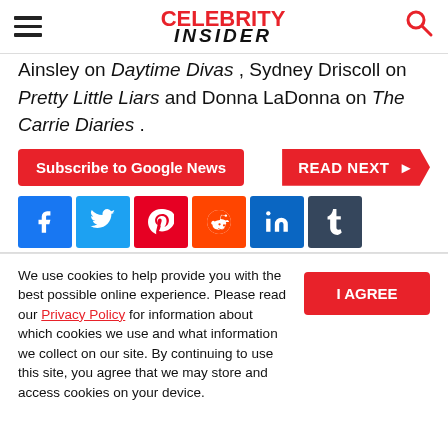CELEBRITY INSIDER
Ainsley on Daytime Divas , Sydney Driscoll on Pretty Little Liars and Donna LaDonna on The Carrie Diaries .
Subscribe to Google News | READ NEXT
[Figure (other): Social media sharing buttons: Facebook, Twitter, Pinterest, Reddit, LinkedIn, Tumblr]
We use cookies to help provide you with the best possible online experience. Please read our Privacy Policy for information about which cookies we use and what information we collect on our site. By continuing to use this site, you agree that we may store and access cookies on your device.